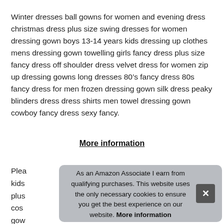Winter dresses ball gowns for women and evening dress christmas dress plus size swing dresses for women dressing gown boys 13-14 years kids dressing up clothes mens dressing gown towelling girls fancy dress plus size fancy dress off shoulder dress velvet dress for women zip up dressing gowns long dresses 80’s fancy dress 80s fancy dress for men frozen dressing gown silk dress peaky blinders dress dress shirts men towel dressing gown cowboy fancy dress sexy fancy.
More information
Plea kids plus cos gow
As an Amazon Associate I earn from qualifying purchases. This website uses the only necessary cookies to ensure you get the best experience on our website. More information